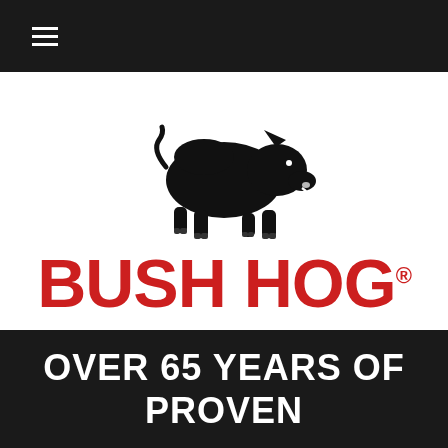≡
[Figure (logo): Bush Hog brand logo featuring a black silhouette of a charging wild boar above the text BUSH HOG in large bold red letters with registered trademark symbol]
OVER 65 YEARS OF PROVEN